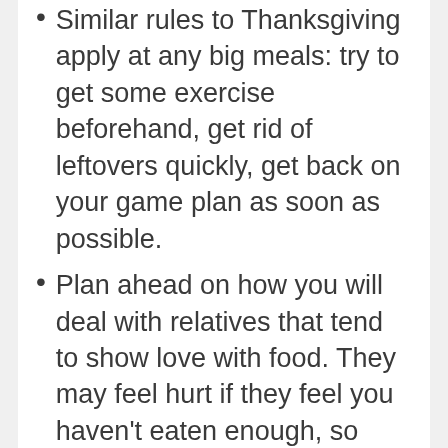Similar rules to Thanksgiving apply at any big meals: try to get some exercise beforehand, get rid of leftovers quickly, get back on your game plan as soon as possible.
Plan ahead on how you will deal with relatives that tend to show love with food. They may feel hurt if they feel you haven't eaten enough, so plan to take a very small portion at first so you have room to go up for seconds so as not to offend. Come up with some scripts for fending off well-meaning forced offerings of food.
“I’m saving room for some of your